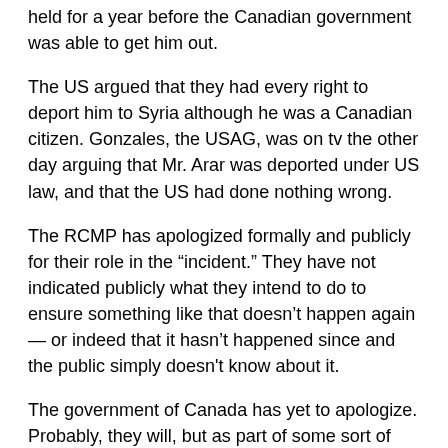held for a year before the Canadian government was able to get him out.
The US argued that they had every right to deport him to Syria although he was a Canadian citizen. Gonzales, the USAG, was on tv the other day arguing that Mr. Arar was deported under US law, and that the US had done nothing wrong.
The RCMP has apologized formally and publicly for their role in the “incident.” They have not indicated publicly what they intend to do to ensure something like that doesn’t happen again — or indeed that it hasn’t happened since and the public simply doesn't know about it.
The government of Canada has yet to apologize. Probably, they will, but as part of some sort of settlement. Mr. Arar is trying to get compensation through the courts. Apologies are different in Canada than in the US; they take on a larger meaning. They are not taken — or given — lightly. So it’s a big deal for the government to apologize for anything, and they take a long time to get ready.
Bottom line: The government is not able to get a conviction in